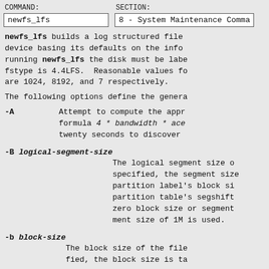COMMAND: newfs_lfs   SECTION: 8 - System Maintenance Comma
newfs_lfs builds a log structured file system on the specified device basing its defaults on the info running newfs_lfs the disk must be labeled and fstype is 4.4LFS.  Reasonable values for are 1024, 8192, and 7 respectively.
The following options define the genera
-A   Attempt to compute the appr formula 4 * bandwidth * ace twenty seconds to discover
-B logical-segment-size   The logical segment size o specified, the segment size partition label's block si partition table's segshift zero block size or segment ment size of 1M is used.
-b block-size   The block size of the file fied, the block size is ta